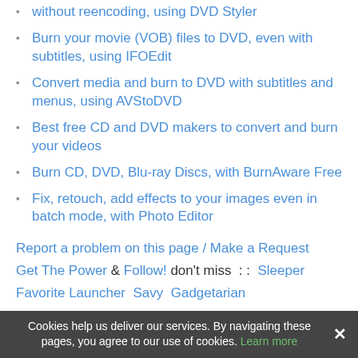without reencoding, using DVD Styler
Burn your movie (VOB) files to DVD, even with subtitles, using IFOEdit
Convert media and burn to DVD with subtitles and menus, using AVStoDVD
Best free CD and DVD makers to convert and burn your videos
Burn CD, DVD, Blu-ray Discs, with BurnAware Free
Fix, retouch, add effects to your images even in batch mode, with Photo Editor
Report a problem on this page / Make a Request
Get The Power & Follow! don't miss  : :  Sleeper  Favorite Launcher  Savy  Gadgetarian
Fling  Power Copy  Windows Rule  SearchALL Gadget
Cookies help us deliver our services. By navigating these pages, you agree to our use of cookies. Learn more